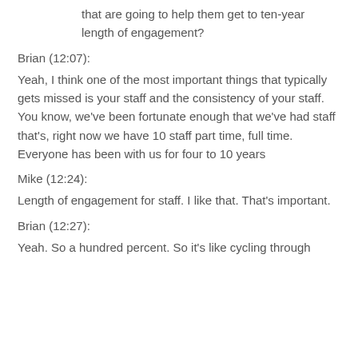that are going to help them get to ten-year length of engagement?
Brian (12:07):
Yeah, I think one of the most important things that typically gets missed is your staff and the consistency of your staff. You know, we've been fortunate enough that we've had staff that's, right now we have 10 staff part time, full time. Everyone has been with us for four to 10 years
Mike (12:24):
Length of engagement for staff. I like that. That's important.
Brian (12:27):
Yeah. So a hundred percent. So it's like cycling through